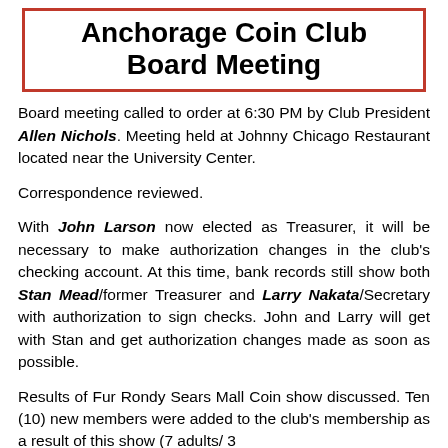Anchorage Coin Club Board Meeting
Board meeting called to order at 6:30 PM by Club President Allen Nichols. Meeting held at Johnny Chicago Restaurant located near the University Center.
Correspondence reviewed.
With John Larson now elected as Treasurer, it will be necessary to make authorization changes in the club's checking account. At this time, bank records still show both Stan Mead/former Treasurer and Larry Nakata/Secretary with authorization to sign checks. John and Larry will get with Stan and get authorization changes made as soon as possible.
Results of Fur Rondy Sears Mall Coin show discussed. Ten (10) new members were added to the club's membership as a result of this show (7 adults/ 3